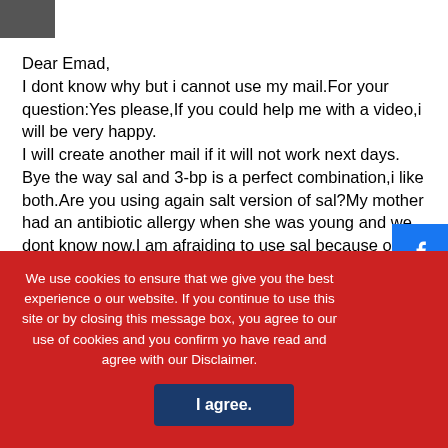[Figure (photo): Small profile photo thumbnail in top left corner]
Dear Emad,
I dont know why but i cannot use my mail.For your question:Yes please,If you could help me with a video,i will be very happy.
I will create another mail if it will not work next days.
Bye the way sal and 3-bp is a perfect combination,i like both.Are you using again salt version of sal?My mother had an antibiotic allergy when she was young and we dont know now.I am afraiding to use sal because of it.

You should look at blood counts as i read after 3-BP.It may be very effective with salinomycin.
We use cookies to ensure that we give you the best experience on our website. If you continue to use this site or by closing this message box, you agree to our use of cookies and you confirm you have read and agree with our Disclaimer.
I agree.